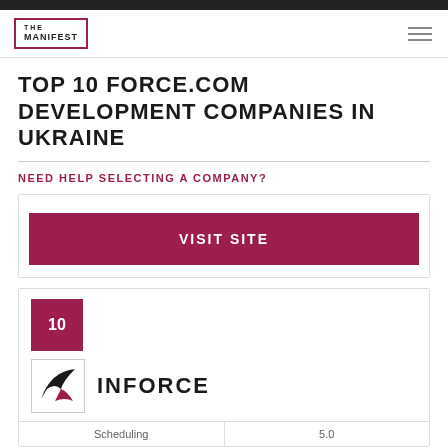THE MANIFEST
TOP 10 FORCE.COM DEVELOPMENT COMPANIES IN UKRAINE
NEED HELP SELECTING A COMPANY?
VISIT SITE
10
[Figure (logo): Inforce company logo with stylized arrow/wing mark in dark red and black]
INFORCE
Scheduling